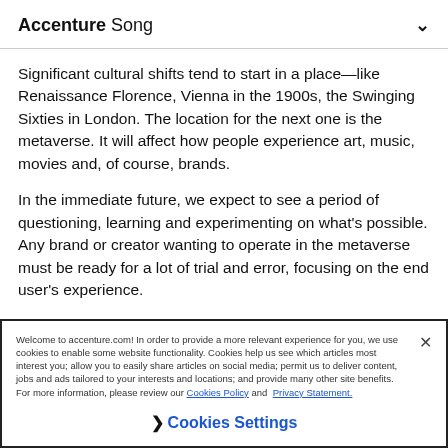Accenture Song
Significant cultural shifts tend to start in a place—like Renaissance Florence, Vienna in the 1900s, the Swinging Sixties in London. The location for the next one is the metaverse. It will affect how people experience art, music, movies and, of course, brands.
In the immediate future, we expect to see a period of questioning, learning and experimenting on what's possible. Any brand or creator wanting to operate in the metaverse must be ready for a lot of trial and error, focusing on the end user's experience.
Welcome to accenture.com! In order to provide a more relevant experience for you, we use cookies to enable some website functionality. Cookies help us see which articles most interest you; allow you to easily share articles on social media; permit us to deliver content, jobs and ads tailored to your interests and locations; and provide many other site benefits. For more information, please review our Cookies Policy and Privacy Statement.
❯ Cookies Settings